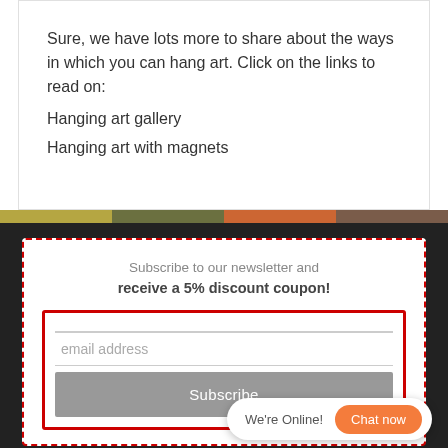Sure, we have lots more to share about the ways in which you can hang art. Click on the links to read on:
Hanging art gallery
Hanging art with magnets
Subscribe to our newsletter and receive a 5% discount coupon!
[Figure (screenshot): Email subscription form with email address input field and Subscribe button, inside a red dashed border box]
We're Online!  Chat now